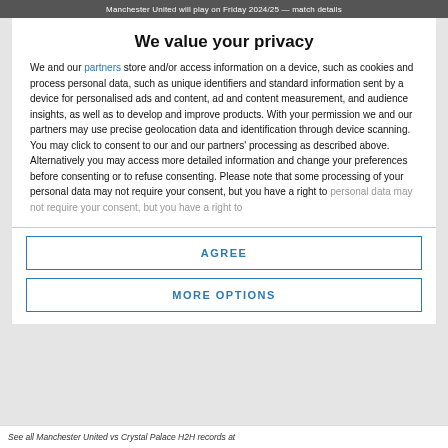Manchester United will play on Friday 2024/25 — match details
We value your privacy
We and our partners store and/or access information on a device, such as cookies and process personal data, such as unique identifiers and standard information sent by a device for personalised ads and content, ad and content measurement, and audience insights, as well as to develop and improve products. With your permission we and our partners may use precise geolocation data and identification through device scanning. You may click to consent to our and our partners' processing as described above. Alternatively you may access more detailed information and change your preferences before consenting or to refuse consenting. Please note that some processing of your personal data may not require your consent, but you have a right to
AGREE
MORE OPTIONS
See all Manchester United vs Crystal Palace H2H records at